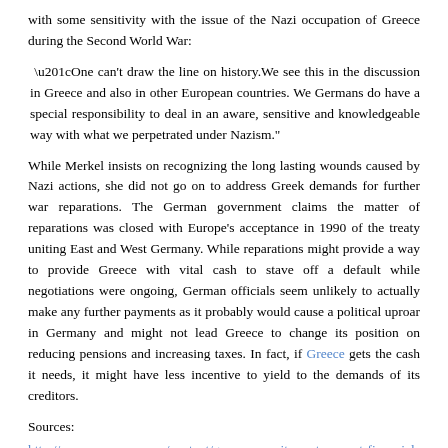with some sensitivity with the issue of the Nazi occupation of Greece during the Second World War:
“One can’t draw the line on history. We see this in the discussion in Greece and also in other European countries. We Germans do have a special responsibility to deal in an aware, sensitive and knowledgeable way with what we perpetrated under Nazism.”
While Merkel insists on recognizing the long lasting wounds caused by Nazi actions, she did not go on to address Greek demands for further war reparations. The German government claims the matter of reparations was closed with Europe’s acceptance in 1990 of the treaty uniting East and West Germany. While reparations might provide a way to provide Greece with vital cash to stave off a default while negotiations were ongoing, German officials seem unlikely to actually make any further payments as it probably would cause a political uproar in Germany and might not lead Greece to change its position on reducing pensions and increasing taxes. In fact, if Greece gets the cash it needs, it might have less incentive to yield to the demands of its creditors.
Sources:
http://www.voanews.com/content/greece-says-it-wont-request-financial-bailout/2746021.html